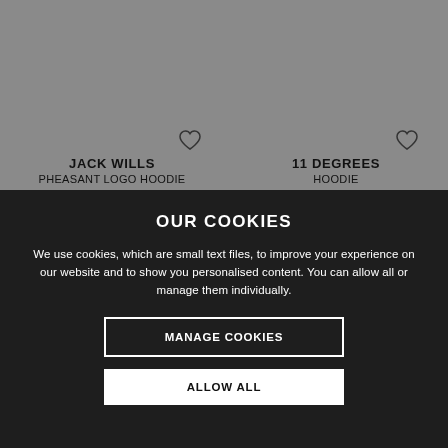[Figure (screenshot): Product listing showing Jack Wills Pheasant Logo Hoodie at £40.00 and 11 Degrees Hoodie at £35.00 on grey background with heart/wishlist icons]
JACK WILLS
PHEASANT LOGO HOODIE
£40.00
11 DEGREES
HOODIE
£35.00
OUR COOKIES
We use cookies, which are small text files, to improve your experience on our website and to show you personalised content. You can allow all or manage them individually.
MANAGE COOKIES
ALLOW ALL